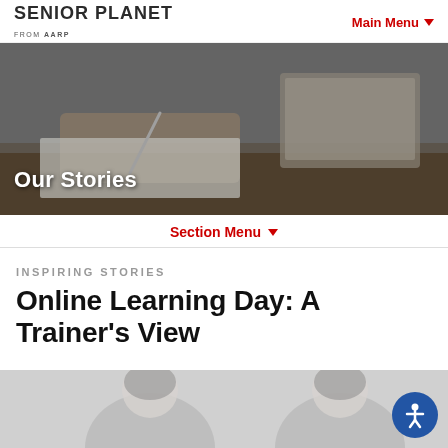SENIOR PLANET FROM AARP | Main Menu
[Figure (photo): Hero image showing hands writing in notebook with laptop in background]
Our Stories
Section Menu
INSPIRING STORIES
Online Learning Day: A Trainer's View
[Figure (photo): Two people with grey hair photographed from shoulders up against a light background]